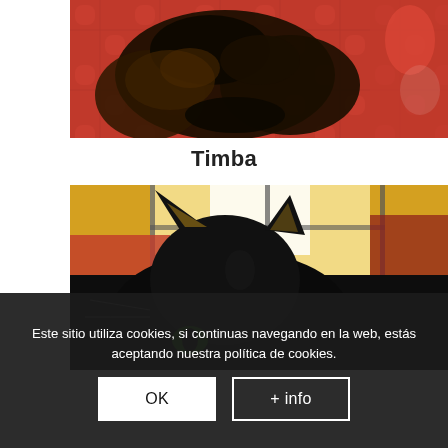[Figure (photo): A tortoiseshell cat lying on a red blanket with white pattern markings]
Timba
[Figure (photo): A black cat peeking up from behind a red surface, with bright window light in the background]
Este sitio utiliza cookies, si continuas navegando en la web, estás aceptando nuestra política de cookies.
OK
+ info